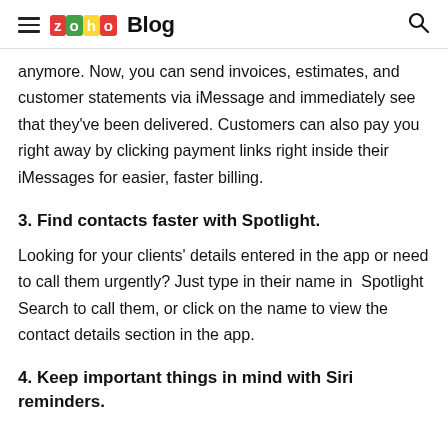ZOHO Blog
anymore. Now, you can send invoices, estimates, and customer statements via iMessage and immediately see that they've been delivered. Customers can also pay you right away by clicking payment links right inside their iMessages for easier, faster billing.
3. Find contacts faster with Spotlight.
Looking for your clients' details entered in the app or need to call them urgently? Just type in their name in Spotlight Search to call them, or click on the name to view the contact details section in the app.
4. Keep important things in mind with Siri reminders.